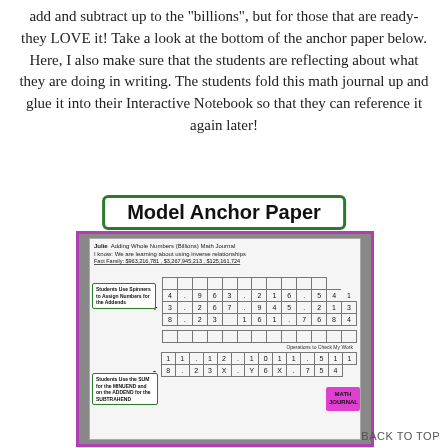add and subtract up to the "billions", but for those that are ready-they LOVE it!  Take a look at the bottom of the anchor paper below.  Here, I also make sure that the students are reflecting about what they are doing in writing.  The students fold this math journal up and glue it into their Interactive Notebook so that they can reference it again later!
[Figure (photo): A photo of a student worksheet titled 'Model Anchor Paper' showing an Adding Whole Numbers (Billions) Math Journal with a grid for addition problems, green callout boxes labeling 'Students Use Spinners to Assign Numbers for the Addends' and 'Students Use the SUM for the MINUEND and on the ADDEND for the SUBTRAHEND', and a pink 'MATH JOURNAL' label. The worksheet shows multi-digit addition with numbers in the billions place value chart.]
BACK TO TOP